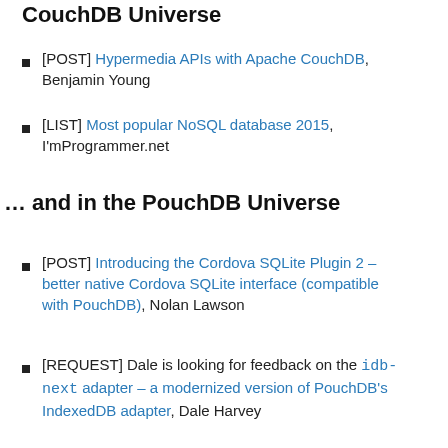CouchDB Universe
[POST] Hypermedia APIs with Apache CouchDB, Benjamin Young
[LIST] Most popular NoSQL database 2015, I'mProgrammer.net
… and in the PouchDB Universe
[POST] Introducing the Cordova SQLite Plugin 2 – better native Cordova SQLite interface (compatible with PouchDB), Nolan Lawson
[REQUEST] Dale is looking for feedback on the `idb-next` adapter – a modernized version of PouchDB's IndexedDB adapter, Dale Harvey